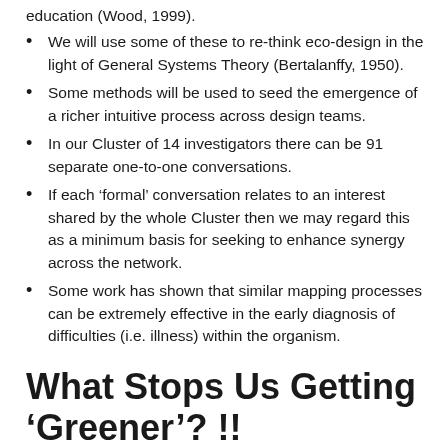education (Wood, 1999).
We will use some of these to re-think eco-design in the light of General Systems Theory (Bertalanffy, 1950).
Some methods will be used to seed the emergence of a richer intuitive process across design teams.
In our Cluster of 14 investigators there can be 91 separate one-to-one conversations.
If each ‘formal’ conversation relates to an interest shared by the whole Cluster then we may regard this as a minimum basis for seeking to enhance synergy across the network.
Some work has shown that similar mapping processes can be extremely effective in the early diagnosis of difficulties (i.e. illness) within the organism.
What Stops Us Getting ‘Greener’? !!